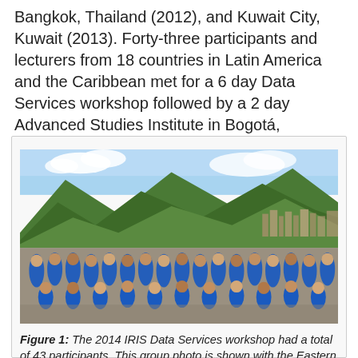Bangkok, Thailand (2012), and Kuwait City, Kuwait (2013). Forty-three participants and lecturers from 18 countries in Latin America and the Caribbean met for a 6 day Data Services workshop followed by a 2 day Advanced Studies Institute in Bogotá, Colombia.
[Figure (photo): Group photo of 43 participants in blue t-shirts at the 2014 IRIS Data Services workshop, taken outdoors on a rooftop with the Eastern Cordillera of the Andes mountains visible in the background, in Bogotá, Colombia.]
Figure 1: The 2014 IRIS Data Services workshop had a total of 43 participants. This group photo is shown with the Eastern Cordillera of the Andes